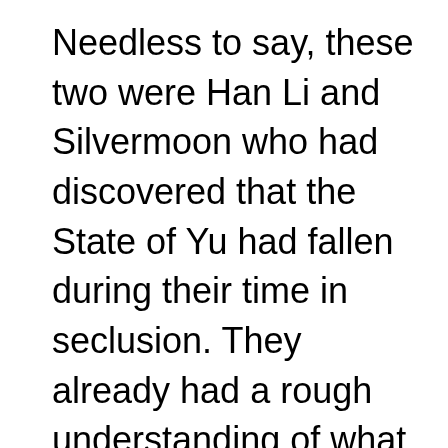Needless to say, these two were Han Li and Silvermoon who had discovered that the State of Yu had fallen during their time in seclusion. They already had a rough understanding of what had happened. He already had Silvermoon sneak into the nearby area and gather some information.

Just as he was passing through